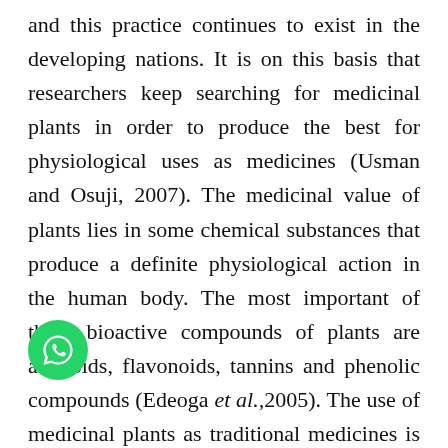and this practice continues to exist in the developing nations. It is on this basis that researchers keep searching for medicinal plants in order to produce the best for physiological uses as medicines (Usman and Osuji, 2007). The medicinal value of plants lies in some chemical substances that produce a definite physiological action in the human body. The most important of these bioactive compounds of plants are alkaloids, flavonoids, tannins and phenolic compounds (Edeoga et al.,2005). The use of medicinal plants as traditional medicines is well known in rural areas of many developing countries (Sandhu and Hoh, 2005) and traditional healers claim that their medicine is cheaper, more effective and impart